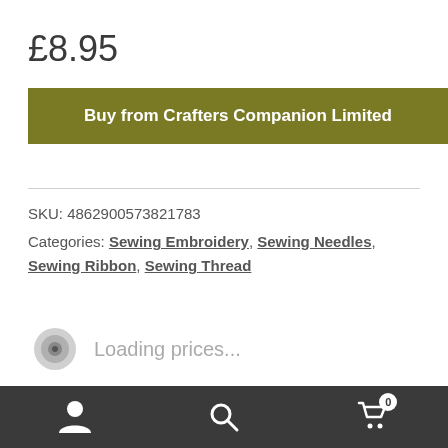£8.95
Buy from Crafters Companion Limited
SKU: 4862900573821783
Categories: Sewing Embroidery, Sewing Needles, Sewing Ribbon, Sewing Thread
Loading prices...
[Figure (screenshot): Bottom navigation bar with user icon, search icon, and cart icon with badge showing 0]